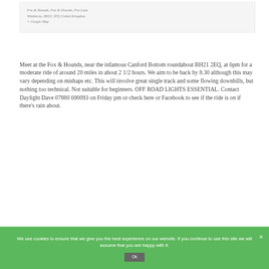Fox & Hounds, Fox & Hounds, Fox Lane
Wimborne, BH21 2EQ United Kingdom
+ Google Map
Meet at the Fox & Hounds, near the infamous Canford Bottom roundabout BH21 2EQ, at 6pm for a moderate ride of around 20 miles in about 2 1/2 hours. We aim to be back by 8.30 although this may vary depending on mishaps etc. This will involve great single track and some flowing downhills, but nothing too technical. Not suitable for beginners. OFF ROAD LIGHTS ESSENTIAL. Contact Daylight Dave 07880 690093 on Friday pm or check here or Facebook to see if the ride is on if there's rain about.
We use cookies to ensure that we give you the best experience on our website. If you continue to use this site we will assume that you are happy with it.